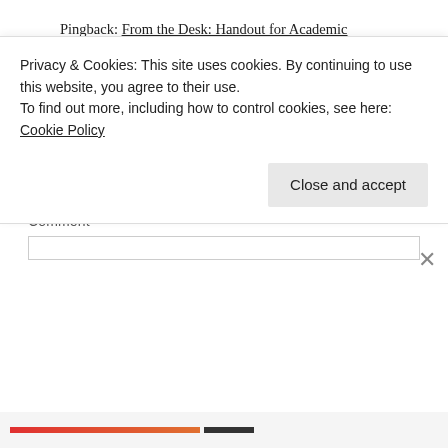Pingback: From the Desk: Handout for Academic Departments | The Homestead Librarian
LEAVE A REPLY
Your email address will not be published. Required fields are marked *
Comment *
Privacy & Cookies: This site uses cookies. By continuing to use this website, you agree to their use.
To find out more, including how to control cookies, see here: Cookie Policy
Close and accept